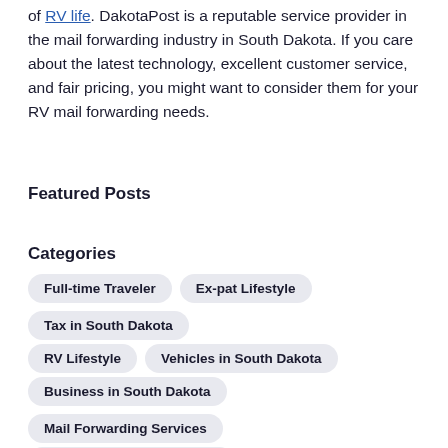of RV life. DakotaPost is a reputable service provider in the mail forwarding industry in South Dakota. If you care about the latest technology, excellent customer service, and fair pricing, you might want to consider them for your RV mail forwarding needs.
Featured Posts
Categories
Full-time Traveler
Ex-pat Lifestyle
Tax in South Dakota
RV Lifestyle
Vehicles in South Dakota
Business in South Dakota
Mail Forwarding Services
Residency in South Dakota
Tags